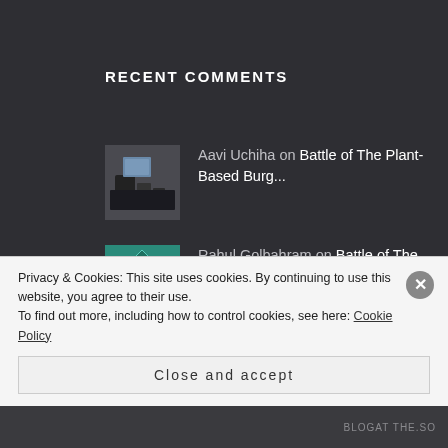RECENT COMMENTS
Aavi Uchiha on Battle of The Plant-Based Burg...
Rahul Golbahram on Battle of The Plant-Based Burg...
Sunshine Blogger Awa... on The Man Eater
animeandfanfiction on Tit for tat, it's funny...
Privacy & Cookies: This site uses cookies. By continuing to use this website, you agree to their use.
To find out more, including how to control cookies, see here: Cookie Policy
Close and accept